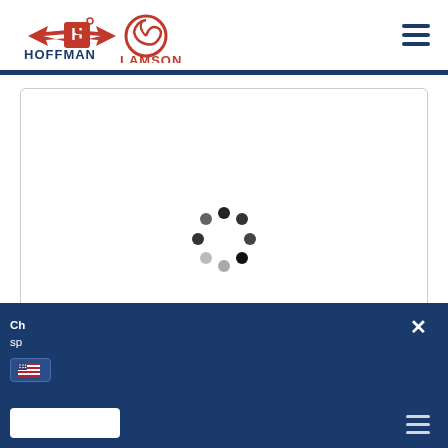[Figure (logo): Hoffman Lamson logo with winged H emblem and red/blue text, plus a red circular Lamson blower logo]
[Figure (other): Hamburger menu icon with three horizontal navy blue lines]
[Figure (other): White content card with rounded border showing a loading spinner (circular dots) in the center]
Ch... sp...
[Figure (other): US flag icon]
[Figure (other): Close X button]
[Figure (other): White input/text box at bottom of cookie consent overlay]